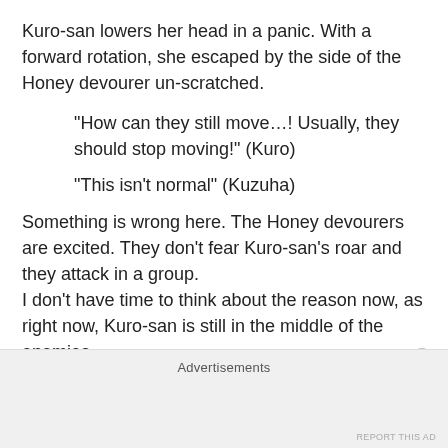Kuro-san lowers her head in a panic. With a forward rotation, she escaped by the side of the Honey devourer un-scratched.
“How can they still move…! Usually, they should stop moving!” (Kuro)
“This isn’t normal” (Kuzuha)
Something is wrong here. The Honey devourers are excited. They don’t fear Kuro-san’s roar and they attack in a group.
I don’t have time to think about the reason now, as right now, Kuro-san is still in the middle of the enemies.
Advertisements